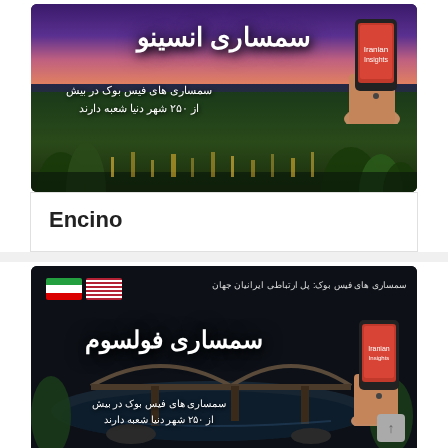[Figure (illustration): Persian/Farsi advertisement banner for 'Encino' real estate brokerage (سمساری انسینو). Shows city skyline at dusk with purple/pink sky, text in Persian stating brokerages with Facebook pages in over 250 cities worldwide, with a hand holding a smartphone on the right side.]
Encino
[Figure (illustration): Persian/Farsi advertisement banner for 'Folsom' real estate brokerage (سمساری فولسوم). Dark background with Iranian and American flags in top left, bridge/river scene, text in Persian describing Facebook brokerages as a communication bridge for Iranians worldwide, with hand holding smartphone on right.]